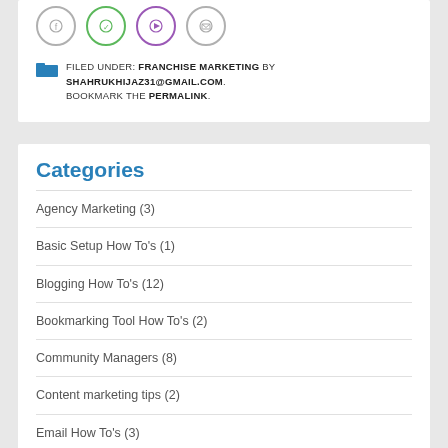[Figure (illustration): Row of four circular social media icon buttons: Facebook (grey border), WhatsApp (green border), YouTube/Play (purple border), Email (grey border)]
FILED UNDER: FRANCHISE MARKETING BY SHAHRUKHIJAZ31@GMAIL.COM. BOOKMARK THE PERMALINK.
Categories
Agency Marketing (3)
Basic Setup How To's (1)
Blogging How To's (12)
Bookmarking Tool How To's (2)
Community Managers (8)
Content marketing tips (2)
Email How To's (3)